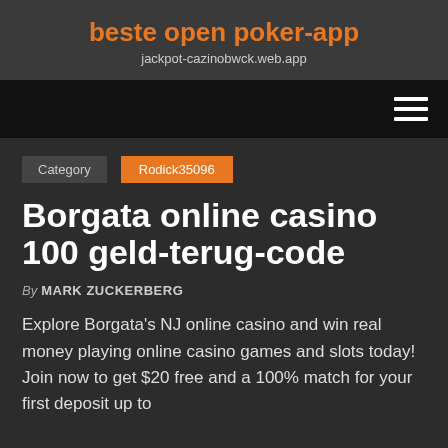beste open poker-app
jackpot-cazinobwck.web.app
Category  Rodick35096
Borgata online casino 100 geld-terug-code
By MARK ZUCKERBERG
Explore Borgata's NJ online casino and win real money playing online casino games and slots today! Join now to get $20 free and a 100% match for your first deposit up to